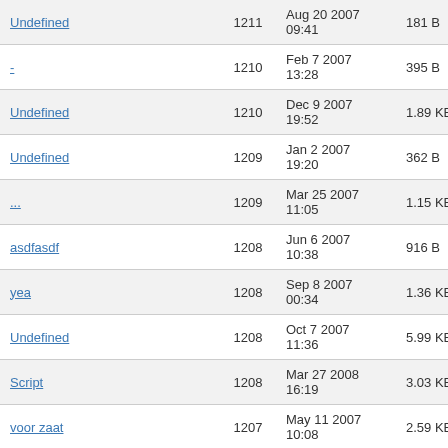| Name | Count | Date | Size |
| --- | --- | --- | --- |
| Undefined | 1211 | Aug 20 2007 09:41 | 181 B |
| - | 1210 | Feb 7 2007 13:28 | 395 B |
| Undefined | 1210 | Dec 9 2007 19:52 | 1.89 KB |
| Undefined | 1209 | Jan 2 2007 19:20 | 362 B |
| ... | 1209 | Mar 25 2007 11:05 | 1.15 KB |
| asdfasdf | 1208 | Jun 6 2007 10:38 | 916 B |
| yea | 1208 | Sep 8 2007 00:34 | 1.36 KB |
| Undefined | 1208 | Oct 7 2007 11:36 | 5.99 KB |
| Script | 1208 | Mar 27 2008 16:19 | 3.03 KB |
| voor zaat | 1207 | May 11 2007 10:08 | 2.59 KB |
| Undefined | 1207 | Jul 4 2007 05:24 | 8.9 KB |
| xx | 1207 | Mar 25 2008 21:04 | 1.91 KB |